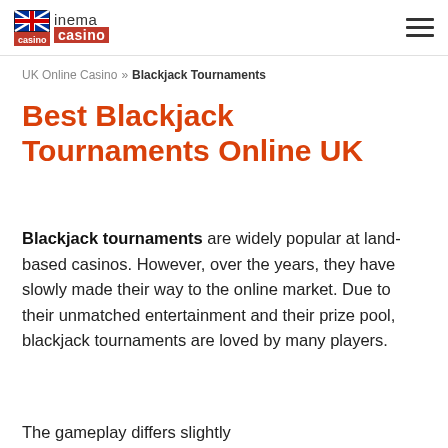inema casino
UK Online Casino » Blackjack Tournaments
Best Blackjack Tournaments Online UK
Blackjack tournaments are widely popular at land-based casinos. However, over the years, they have slowly made their way to the online market. Due to their unmatched entertainment and their prize pool, blackjack tournaments are loved by many players.
The gameplay differs slightly